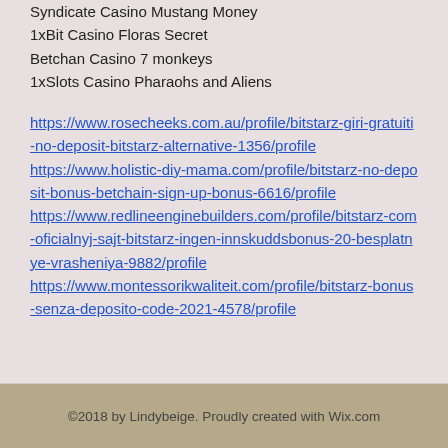Syndicate Casino Mustang Money
1xBit Casino Floras Secret
Betchan Casino 7 monkeys
1xSlots Casino Pharaohs and Aliens
https://www.rosecheeks.com.au/profile/bitstarz-giri-gratuiti-no-deposit-bitstarz-alternative-1356/profile https://www.holistic-diy-mama.com/profile/bitstarz-no-deposit-bonus-betchain-sign-up-bonus-6616/profile https://www.redlineenginebuilders.com/profile/bitstarz-com-oficialnyj-sajt-bitstarz-ingen-innskuddsbonus-20-besplatnye-vrasheniya-9882/profile https://www.montessorikwaliteit.com/profile/bitstarz-bonus-senza-deposito-code-2021-4578/profile
©2018 by Lindybeige. Proudly created with Wix.com